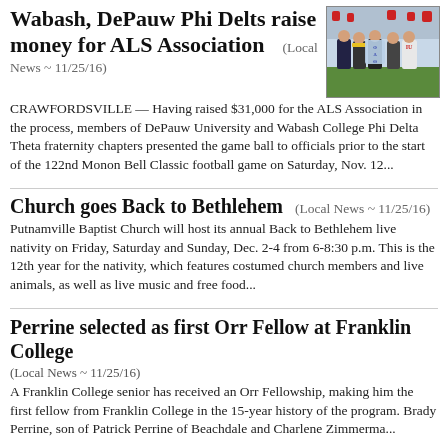Wabash, DePauw Phi Delts raise money for ALS Association
(Local News ~ 11/25/16)
[Figure (photo): Group of people posing at a football game, one holding a Phi Delta Theta fraternity banner]
CRAWFORDSVILLE — Having raised $31,000 for the ALS Association in the process, members of DePauw University and Wabash College Phi Delta Theta fraternity chapters presented the game ball to officials prior to the start of the 122nd Monon Bell Classic football game on Saturday, Nov. 12...
Church goes Back to Bethlehem
(Local News ~ 11/25/16)
Putnamville Baptist Church will host its annual Back to Bethlehem live nativity on Friday, Saturday and Sunday, Dec. 2-4 from 6-8:30 p.m. This is the 12th year for the nativity, which features costumed church members and live animals, as well as live music and free food...
Perrine selected as first Orr Fellow at Franklin College
(Local News ~ 11/25/16)
A Franklin College senior has received an Orr Fellowship, making him the first fellow from Franklin College in the 15-year history of the program. Brady Perrine, son of Patrick Perrine of Beachdale and Charlene Zimmerma...